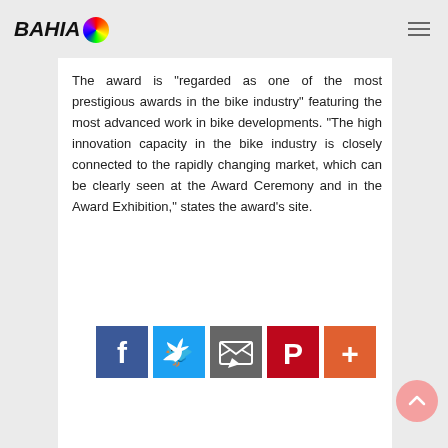BAHIA [logo with colorful dot]
The award is "regarded as one of the most prestigious awards in the bike industry" featuring the most advanced work in bike developments. "The high innovation capacity in the bike industry is closely connected to the rapidly changing market, which can be clearly seen at the Award Ceremony and in the Award Exhibition," states the award's site.
[Figure (infographic): Social sharing buttons: Facebook (blue), Twitter (light blue), Email/envelope (dark gray), Pinterest (red), More/plus (orange-red)]